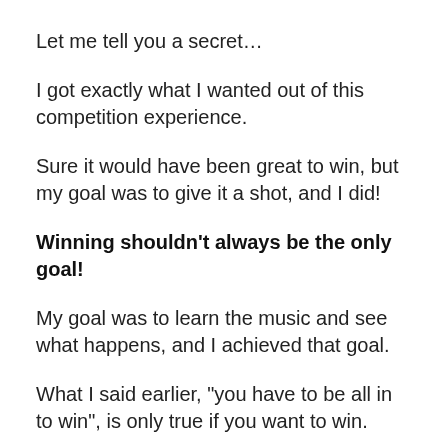Let me tell you a secret…
I got exactly what I wanted out of this competition experience.
Sure it would have been great to win, but my goal was to give it a shot, and I did!
Winning shouldn't always be the only goal!
My goal was to learn the music and see what happens, and I achieved that goal.
What I said earlier, "you have to be all in to win", is only true if you want to win.
There is a plethora of other things you can get out of an audition or competition experience